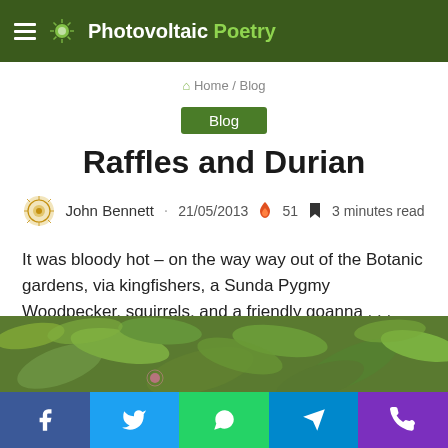Photovoltaic Poetry
Home / Blog
Blog
Raffles and Durian
John Bennett · 21/05/2013 🔥 51 🔖 3 minutes read
It was bloody hot – on the way way out of the Botanic gardens, via kingfishers, a Sunda Pygmy Woodpecker, squirrels, and a friendly goanna . . .
[Figure (photo): Photo of green leafy plants/foliage, partially visible at bottom of page]
Social share bar: Facebook, Twitter, WhatsApp, Telegram, Phone